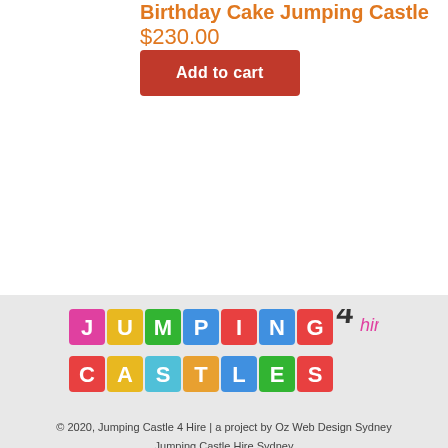Birthday Cake Jumping Castle
$230.00
Add to cart
[Figure (logo): Jumping Castles 4 Hire colorful logo with block letters]
© 2020, Jumping Castle 4 Hire | a project by Oz Web Design Sydney
Jumping Castle Hire Sydney